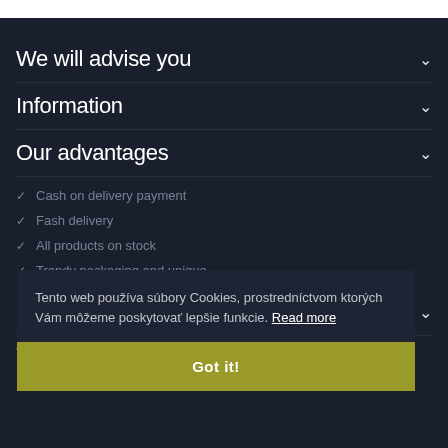We will advise you
Information
Our advantages
Cash on delivery payment
Fash delivery
All products on stock
Trendy packaging and unique...
Tento web používa súbory Cookies, prostredníctvom ktorých Vám môžeme poskytovať lepšie funkcie. Read more
Got it!
Follow us
Facebook